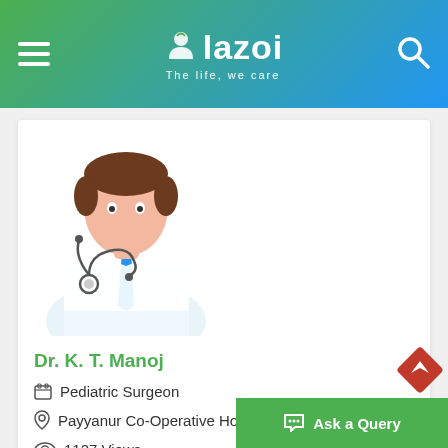lazoi - The life, we care
[Figure (illustration): Generic male doctor avatar with stethoscope and white coat]
Dr. K. T. Manoj
Pediatric Surgeon
Payyanur Co-Operative Hospital Society
1127 Views
₹ 500 /-
VIEW PROFILE   BOOK APPOINTMENT
Ask a Query